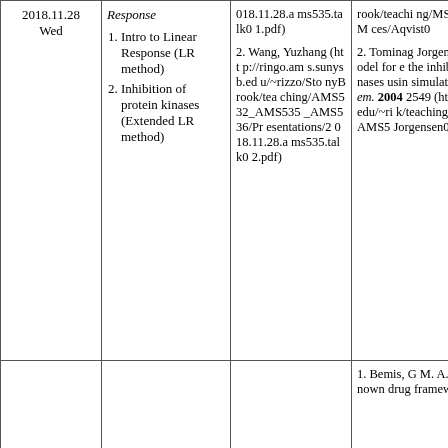| Date | Topic | Slides | Reading |
| --- | --- | --- | --- |
| 2018.11.28
Wed | Response
1. Intro to Linear Response (LR method)
2. Inhibition of protein kinases (Extended LR method) | 1. ...utions/2018.11.28.ams535.talk01.pdf)
2. Wang, Yuzhang (http://ringo.ams.sunysb.edu/~rizzo/StonyBrook/teaching/AMS532_AMS535_AMS536/Presentations/2018.11.28.ams535.talk02.pdf) | ...rook/teaching/MS535_AMS...ces/Aqvist0...
2. Tominag... Jorgensen, ... model for e... the inhibitio... kinases usin... simulations... Chem. 2004... 2549 (http:... ysb.edu/~ri... k/teaching/... 535_AMS5... Jorgensen0... |
|  |  |  | 1. Bemis, G... M. A., The ... known drug... framework... |